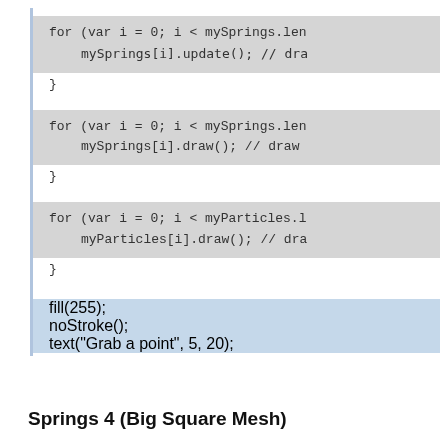for (var i = 0; i < mySprings.len
    mySprings[i].update(); // dra
}
for (var i = 0; i < mySprings.len
    mySprings[i].draw(); // draw
}
for (var i = 0; i < myParticles.l
    myParticles[i].draw(); // dra
}
fill(255);
noStroke();
text("Grab a point", 5, 20);
}
Springs 4 (Big Square Mesh)